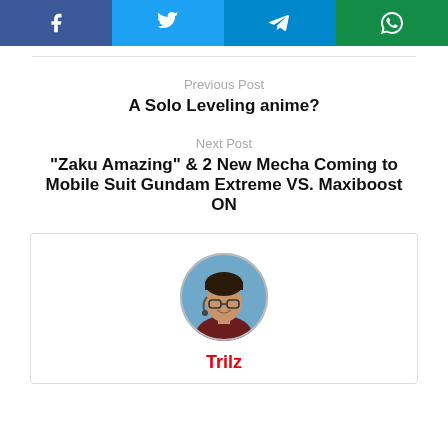[Figure (other): Social share buttons: Facebook, Twitter, Telegram, WhatsApp]
Previous Post
A Solo Leveling anime?
Next Post
“Zaku Amazing” & 2 New Mecha Coming to Mobile Suit Gundam Extreme VS. Maxiboost ON
[Figure (photo): Circular profile photo of author Trilz]
Trilz